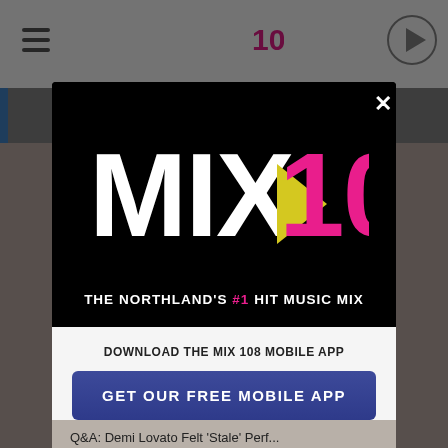[Figure (screenshot): Background website screenshot showing MIX 108 radio station website header with logo, hamburger menu, and play button]
[Figure (logo): MIX 108 radio station modal popup with logo reading 'MIX 108' with yellow triangle play icon, tagline 'THE NORTHLAND'S #1 HIT MUSIC MIX', download prompt, blue GET OUR FREE MOBILE APP button, Q&A Demi Lovato text, Also listen on: amazon alexa section, and close X button]
DOWNLOAD THE MIX 108 MOBILE APP
GET OUR FREE MOBILE APP
Q&A: Demi Lovato Felt 'Stale' Perf...
Also listen on:  amazon alexa